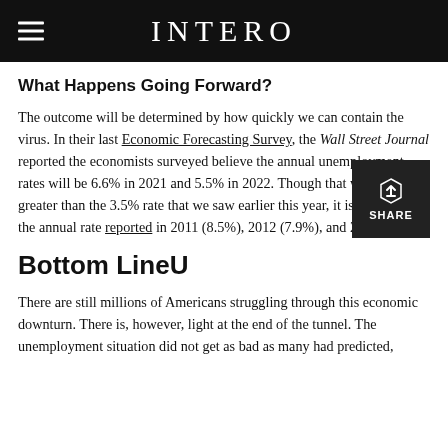INTERO
What Happens Going Forward?
The outcome will be determined by how quickly we can contain the virus. In their last Economic Forecasting Survey, the Wall Street Journal reported the economists surveyed believe the annual unemployment rates will be 6.6% in 2021 and 5.5% in 2022. Though that will still be greater than the 3.5% rate that we saw earlier this year, it is lower than the annual rate reported in 2011 (8.5%), 2012 (7.9%), and 2013 (6.7%).
Bottom LineU
There are still millions of Americans struggling through this economic downturn. There is, however, light at the end of the tunnel. The unemployment situation did not get as bad as many had predicted,